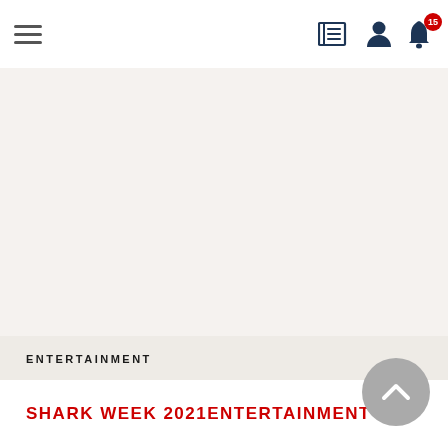Navigation bar with hamburger menu, newspaper icon, user icon, and notification bell with badge 15
ENTERTAINMENT
SHARK WEEK 2021ENTERTAINMENT